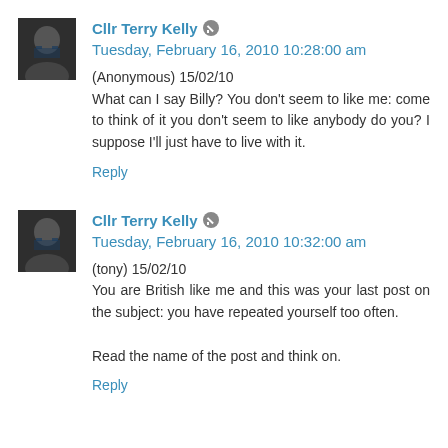Cllr Terry Kelly [edit icon] Tuesday, February 16, 2010 10:28:00 am
(Anonymous) 15/02/10
What can I say Billy? You don't seem to like me: come to think of it you don't seem to like anybody do you? I suppose I'll just have to live with it.
Reply
Cllr Terry Kelly [edit icon] Tuesday, February 16, 2010 10:32:00 am
(tony) 15/02/10
You are British like me and this was your last post on the subject: you have repeated yourself too often.
Read the name of the post and think on.
Reply